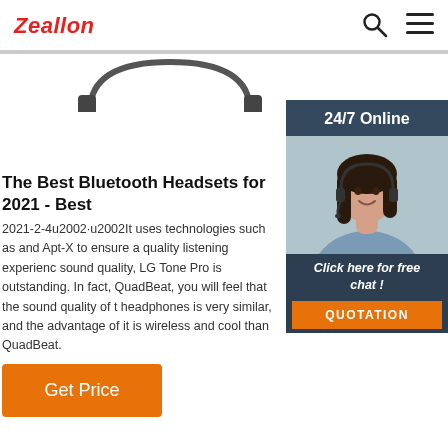Zeallon
[Figure (photo): Top portion of a Bluetooth headset product image, partially visible at top of page]
[Figure (photo): 24/7 Online chat widget with a woman wearing a headset, dark blue background, with 'Click here for free chat!' text and an orange QUOTATION button]
The Best Bluetooth Headsets for 2021 - Best
2021-2-4u2002·u2002It uses technologies such as and Apt-X to ensure a quality listening experience sound quality, LG Tone Pro is outstanding. In fact, QuadBeat, you will feel that the sound quality of t headphones is very similar, and the advantage of it is wireless and cool than QuadBeat.
Get Price